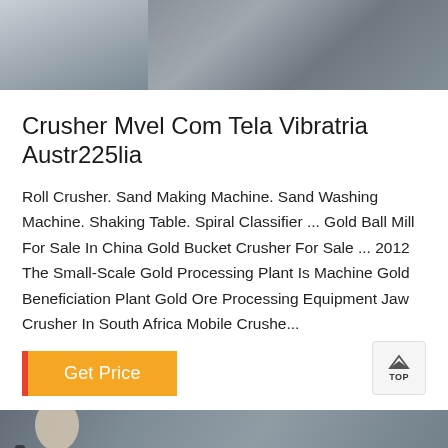[Figure (photo): Two-panel photo showing industrial machinery/materials — left panel shows metallic/fibrous material, right panel shows stacked metal bars or panels]
Crusher Mvel Com Tela Vibratria Austr225lia
Roll Crusher. Sand Making Machine. Sand Washing Machine. Shaking Table. Spiral Classifier ... Gold Ball Mill For Sale In China Gold Bucket Crusher For Sale ... 2012 The Small-Scale Gold Processing Plant Is Machine Gold Beneficiation Plant Gold Ore Processing Equipment Jaw Crusher In South Africa Mobile Crushe...
[Figure (photo): Button/widget: Get Price button with orange background and red left border, plus a TOP navigation button in the upper right]
[Figure (photo): Bottom section showing a rocky/stone background image with a customer service representative and an orange Message/Online Chat bar at the bottom]